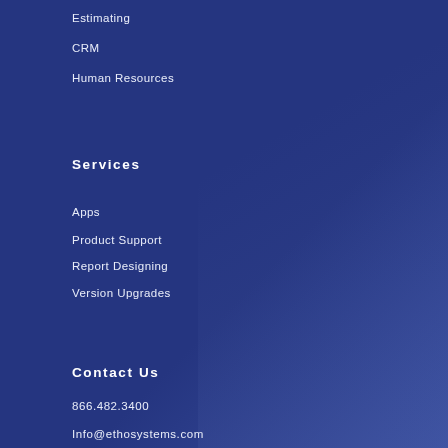Estimating
CRM
Human Resources
Services
Apps
Product Support
Report Designing
Version Upgrades
Contact Us
866.482.3400
Info@ethosystems.com